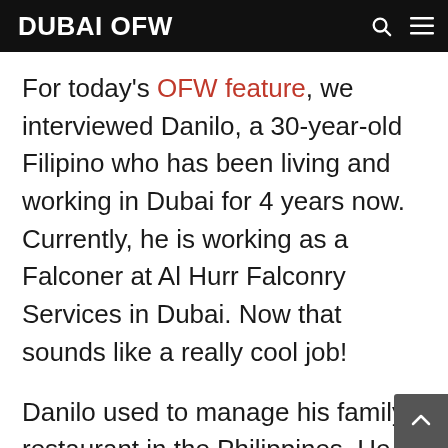DUBAI OFW
For today's OFW feature, we interviewed Danilo, a 30-year-old Filipino who has been living and working in Dubai for 4 years now. Currently, he is working as a Falconer at Al Hurr Falconry Services in Dubai. Now that sounds like a really cool job!
Danilo used to manage his family's restaurant in the Philippines. He